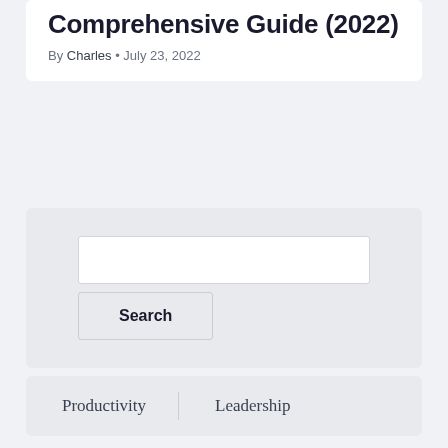Comprehensive Guide (2022)
By Charles • July 23, 2022
Search
Productivity   Leadership